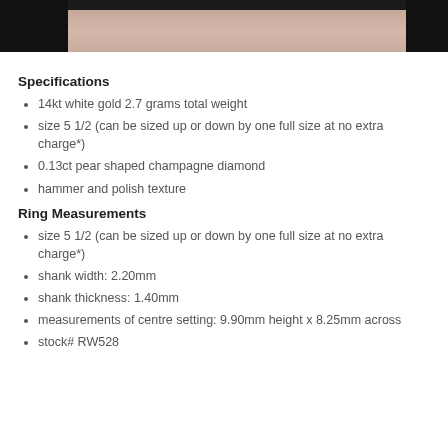[Figure (photo): Close-up photo of skin texture with black borders on left and right edges]
Specifications
14kt white gold 2.7 grams total weight
size 5 1/2 (can be sized up or down by one full size at no extra charge*)
0.13ct pear shaped champagne diamond
hammer and polish texture
Ring Measurements
size 5 1/2 (can be sized up or down by one full size at no extra charge*)
shank width: 2.20mm
shank thickness: 1.40mm
measurements of centre setting: 9.90mm height x 8.25mm across
stock# RW528